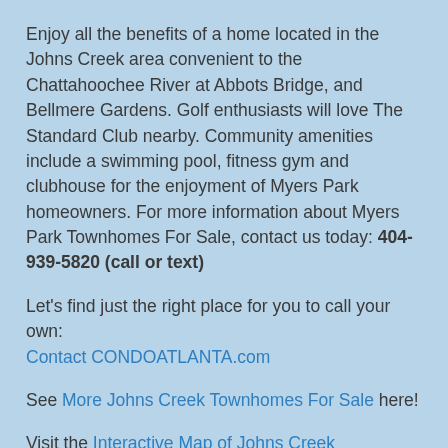Enjoy all the benefits of a home located in the Johns Creek area convenient to the Chattahoochee River at Abbots Bridge, and Bellmere Gardens. Golf enthusiasts will love The Standard Club nearby. Community amenities include a swimming pool, fitness gym and clubhouse for the enjoyment of Myers Park homeowners. For more information about Myers Park Townhomes For Sale, contact us today: 404-939-5820 (call or text)
Let's find just the right place for you to call your own: Contact CONDOATLANTA.com
See More Johns Creek Townhomes For Sale here!
Visit the Interactive Map of Johns Creek Townhomes For Sale here!